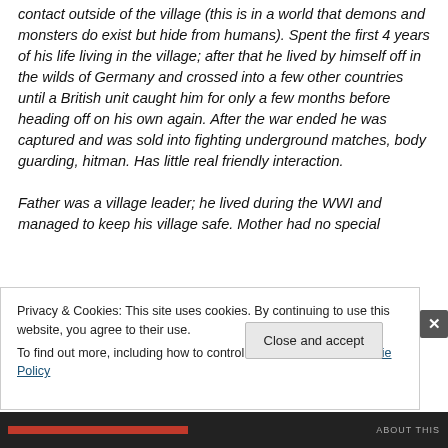contact outside of the village (this is in a world that demons and monsters do exist but hide from humans). Spent the first 4 years of his life living in the village; after that he lived by himself off in the wilds of Germany and crossed into a few other countries until a British unit caught him for only a few months before heading off on his own again. After the war ended he was captured and was sold into fighting underground matches, body guarding, hitman. Has little real friendly interaction.
Father was a village leader; he lived during the WWI and managed to keep his village safe. Mother had no special
Privacy & Cookies: This site uses cookies. By continuing to use this website, you agree to their use.
To find out more, including how to control cookies, see here: Cookie Policy
Close and accept